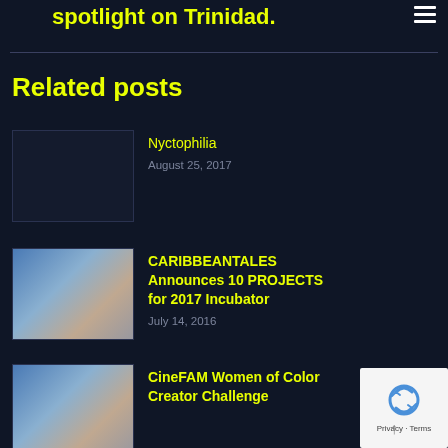spotlight on Trinidad.
Related posts
Nyctophilia
August 25, 2017
CARIBBEANTALES Announces 10 PROJECTS for 2017 Incubator
July 14, 2016
CineFAM Women of Color Creator Challenge